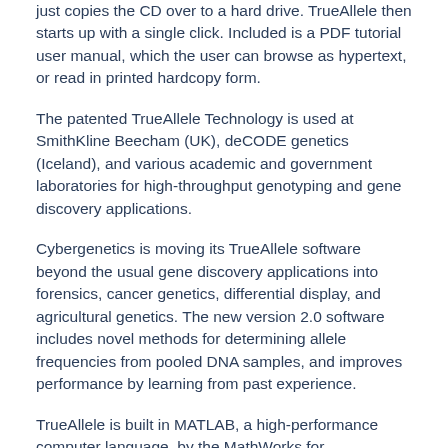just copies the CD over to a hard drive. TrueAllele then starts up with a single click. Included is a PDF tutorial user manual, which the user can browse as hypertext, or read in printed hardcopy form.
The patented TrueAllele Technology is used at SmithKline Beecham (UK), deCODE genetics (Iceland), and various academic and government laboratories for high-throughput genotyping and gene discovery applications.
Cybergenetics is moving its TrueAllele software beyond the usual gene discovery applications into forensics, cancer genetics, differential display, and agricultural genetics. The new version 2.0 software includes novel methods for determining allele frequencies from pooled DNA samples, and improves performance by learning from past experience.
TrueAllele is built in MATLAB, a high-performance computer language, by the MathWorks for...